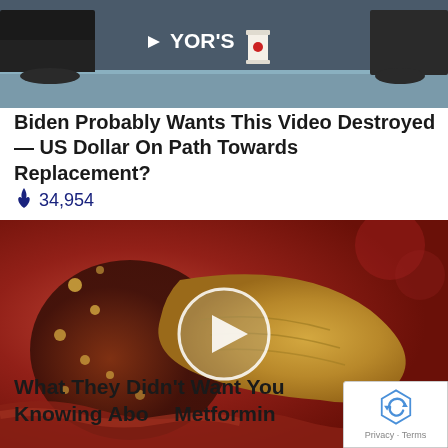[Figure (screenshot): Screenshot of a news/media page showing a video thumbnail of a news segment with 'YOR'S' text visible, person in dark suit seated at desk]
Biden Probably Wants This Video Destroyed — US Dollar On Path Towards Replacement?
🔥 34,954
[Figure (screenshot): Medical animation video thumbnail showing internal organ anatomy (pancreas or liver) with a play button overlay in the center]
What They Didn't Want You Knowing About Metformin